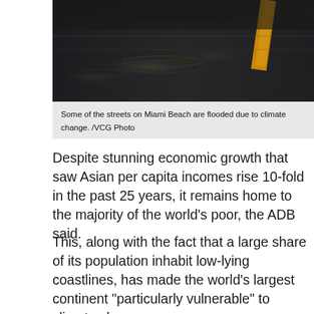[Figure (photo): Flooded dark street with water reflections and a yellow road line visible, Miami Beach flood scene at night]
Some of the streets on Miami Beach are flooded due to climate change. /VCG Photo
Despite stunning economic growth that saw Asian per capita incomes rise 10-fold in the past 25 years, it remains home to the majority of the world's poor, the ADB said.
This, along with the fact that a large share of its population inhabit low-lying coastlines, has made the world's largest continent "particularly vulnerable" to climate change.